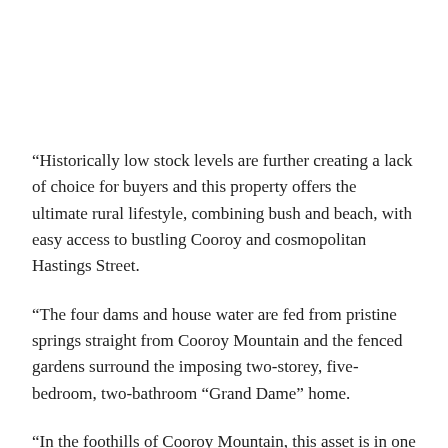“Historically low stock levels are further creating a lack of choice for buyers and this property offers the ultimate rural lifestyle, combining bush and beach, with easy access to bustling Cooroy and cosmopolitan Hastings Street.
“The four dams and house water are fed from pristine springs straight from Cooroy Mountain and the fenced gardens surround the imposing two-storey, five-bedroom, two-bathroom “Grand Dame” home.
“In the foothills of Cooroy Mountain, this asset is in one of Noosa Hinterland’s most sought-after localities just 20* minutes to Noosa River and 25* minutes to Hastings Street and Noosa Main Beach.